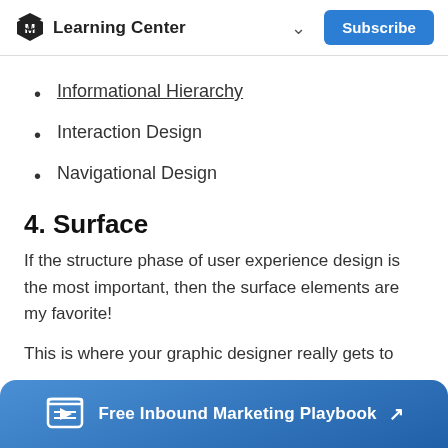Learning Center
Informational Hierarchy
Interaction Design
Navigational Design
4. Surface
If the structure phase of user experience design is the most important, then the surface elements are my favorite!
This is where your graphic designer really gets to
[Figure (other): Blue banner at bottom: Free Inbound Marketing Playbook with book/play icon and arrow link]